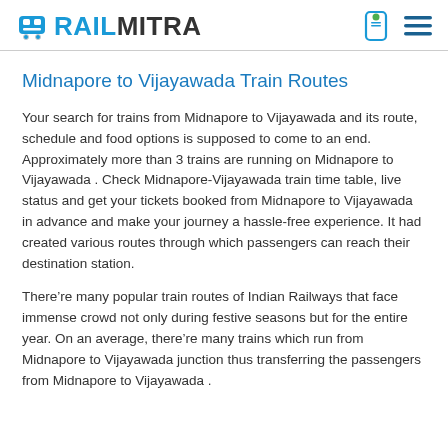RAILMITRA
Midnapore to Vijayawada Train Routes
Your search for trains from Midnapore to Vijayawada and its route, schedule and food options is supposed to come to an end. Approximately more than 3 trains are running on Midnapore to Vijayawada . Check Midnapore-Vijayawada train time table, live status and get your tickets booked from Midnapore to Vijayawada in advance and make your journey a hassle-free experience. It had created various routes through which passengers can reach their destination station.
There’re many popular train routes of Indian Railways that face immense crowd not only during festive seasons but for the entire year. On an average, there’re many trains which run from Midnapore to Vijayawada junction thus transferring the passengers from Midnapore to Vijayawada .